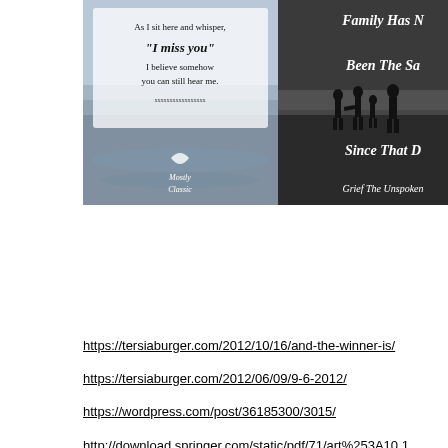[Figure (photo): Left: grief/memorial quote image with beach background. Text: 'As I sit here and whisper, "I miss you" I believe somehow you can still hear me.' with moon/brand logo at bottom. Right: dark silhouette photo of family walking on beach. Partial text visible: 'Family Has Ne... Been The Sam... Since That Da...' and 'Grief The Unspoken' at bottom.]
https://tersiaburger.com/2012/10/16/and-the-winner-is/
https://tersiaburger.com/2012/06/09/9-6-2012/
https://wordpress.com/post/36185300/3015/
http://download.springer.com/static/pdf/71/art%253A10.1186%252Fcc11867.pdf?originUrl=http%3A%2F%2Flink.springer.com%2Farticle%2E10.1186%2Fcc11867&token2=exp=1461937379~acl=